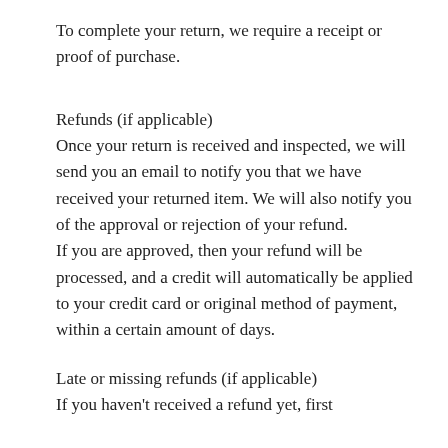To complete your return, we require a receipt or proof of purchase.
Refunds (if applicable)
Once your return is received and inspected, we will send you an email to notify you that we have received your returned item. We will also notify you of the approval or rejection of your refund. If you are approved, then your refund will be processed, and a credit will automatically be applied to your credit card or original method of payment, within a certain amount of days.
Late or missing refunds (if applicable)
If you haven't received a refund yet, first